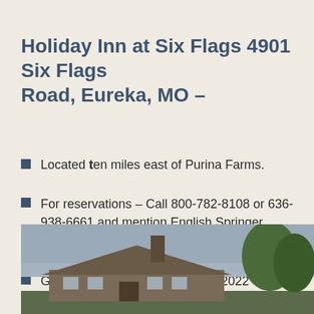Holiday Inn at Six Flags 4901 Six Flags Road, Eureka, MO –
Located ten miles east of Purina Farms.
For reservations – Call 800-782-8108 or 636-938-6661 and mention English Springer Spaniel Field Trial Association
Group Rates good until July 24, 2022
[Figure (photo): Photograph of a building, likely the Holiday Inn at Six Flags, showing a roof with chimney and trees in the background against an overcast sky.]